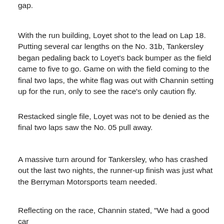gap.
With the run building, Loyet shot to the lead on Lap 18. Putting several car lengths on the No. 31b, Tankersley began pedaling back to Loyet's back bumper as the field came to five to go. Game on with the field coming to the final two laps, the white flag was out with Channin setting up for the run, only to see the race's only caution fly.
Restacked single file, Loyet was not to be denied as the final two laps saw the No. 05 pull away.
A massive turn around for Tankersley, who has crashed out the last two nights, the runner-up finish was just what the Berryman Motorsports team needed.
Reflecting on the race, Channin stated, "We had a good car